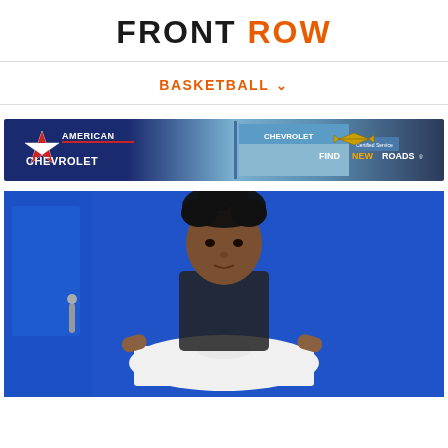FRONT ROW
BASKETBALL
[Figure (photo): American Chevrolet advertisement banner with dealership photo and 'Find New Roads' slogan]
[Figure (photo): Young basketball player standing in front of blue wall holding a white t-shirt]